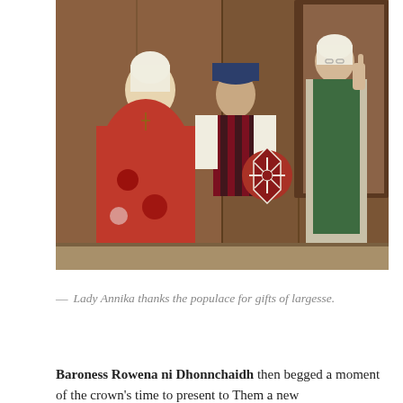[Figure (photo): Three people in medieval Renaissance costumes in a wood-paneled hall. Left: a woman seated in a red embroidered gown with a white headdress. Center: a man standing in a dark vest and hat holding a red circular shield. Right: a woman standing in a green long robe with white trim, gesturing with her hands.]
— Lady Annika thanks the populace for gifts of largesse.
Baroness Rowena ni Dhonnchaidh then begged a moment of the crown's time to present to Them a new